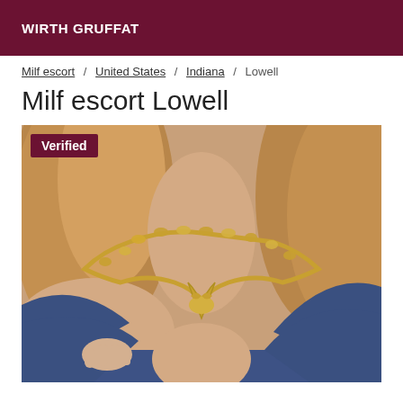WIRTH GRUFFAT
Milf escort / United States / Indiana / Lowell
Milf escort Lowell
[Figure (photo): Close-up photo of a woman wearing a gold chain necklace with a pendant, dressed in a blue top, with blonde/brown highlighted hair. A 'Verified' badge appears in the top-left corner of the image.]